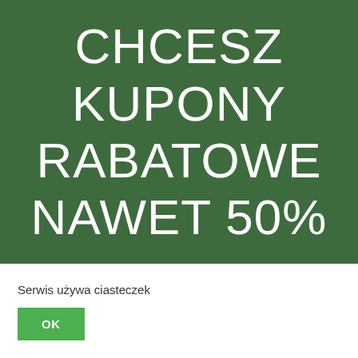[Figure (infographic): Dark green background banner with large white text reading 'CHCESZ KUPONY RABATOWE NAWET 50%' in a light-weight sans-serif font]
Serwis używa ciasteczek
OK